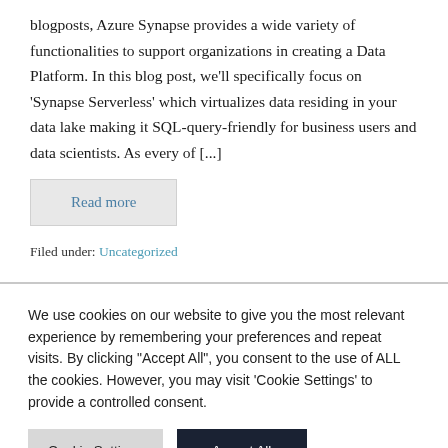blogposts, Azure Synapse provides a wide variety of functionalities to support organizations in creating a Data Platform. In this blog post, we'll specifically focus on 'Synapse Serverless' which virtualizes data residing in your data lake making it SQL-query-friendly for business users and data scientists. As every of [...]
Read more
Filed under: Uncategorized
We use cookies on our website to give you the most relevant experience by remembering your preferences and repeat visits. By clicking "Accept All", you consent to the use of ALL the cookies. However, you may visit 'Cookie Settings' to provide a controlled consent.
Cookie Settings
Accept All